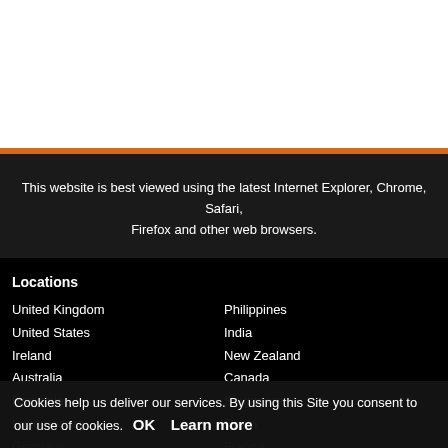This website is best viewed using the latest Internet Explorer, Chrome, Safari, Firefox and other web browsers.
Locations
United Kingdom
United States
Ireland
Australia
Romania
Luxembourg
Germany
China
South Africa
Italy
Philippines
India
New Zealand
Canada
Singapore
Spain
France
Croatia
Hungary
Slovakia
Cookies help us deliver our services. By using this Site you consent to our use of cookies. OK Learn more